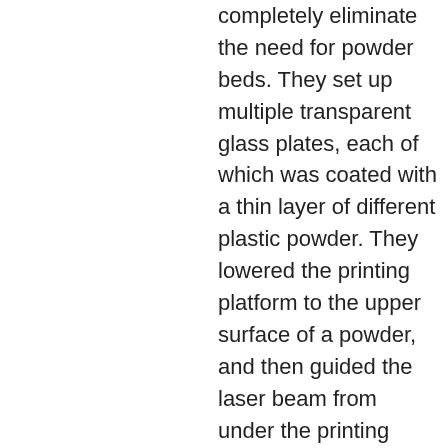completely eliminate the need for powder beds. They set up multiple transparent glass plates, each of which was coated with a thin layer of different plastic powder. They lowered the printing platform to the upper surface of a powder, and then guided the laser beam from under the printing plate through the bottom of the printing plate. This process selectively sinters some powder onto the printing platform in a pre-programmed mode according to the virtual blueprint. Then use the fused material to lift the platform and move it to another board coated with a different powder, and then repeat the process. This allows multiple materials to be combined into a single layer or stacked. At the same time, replenish the old used up printing plates.
In this paper, the team used thermoplastic polyurethane (TPU) powder with an average layer height of 43.6 microns to generate 50-layer thick, 2.18 mm samples, and nylon and TPU prints with an average